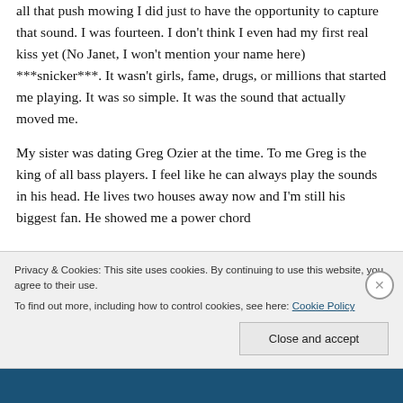all that push mowing I did just to have the opportunity to capture that sound. I was fourteen. I don't think I even had my first real kiss yet (No Janet, I won't mention your name here) ***snicker***. It wasn't girls, fame, drugs, or millions that started me playing. It was so simple. It was the sound that actually moved me.
My sister was dating Greg Ozier at the time. To me Greg is the king of all bass players. I feel like he can always play the sounds in his head. He lives two houses away now and I'm still his biggest fan. He showed me a power chord
Privacy & Cookies: This site uses cookies. By continuing to use this website, you agree to their use.
To find out more, including how to control cookies, see here: Cookie Policy
Close and accept